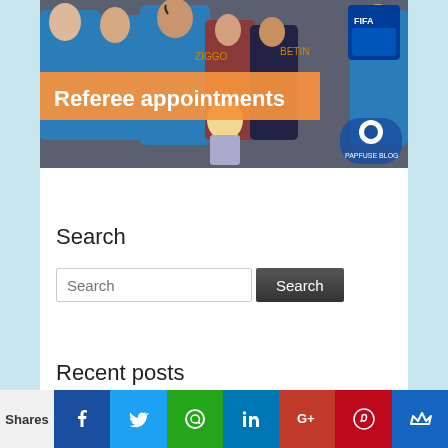[Figure (photo): Group of football referees in blue shirts walking through a tunnel, accompanied by a young child mascot. An orange banner overlay reads 'Referee appointments'. A FIFA badge and a Papfuse Blog logo are visible.]
Search
Search [input] Search [button]
Recent posts
Shares [social share bar with Facebook, Twitter, WhatsApp, LinkedIn, Google+, Pinterest, Crown icons]